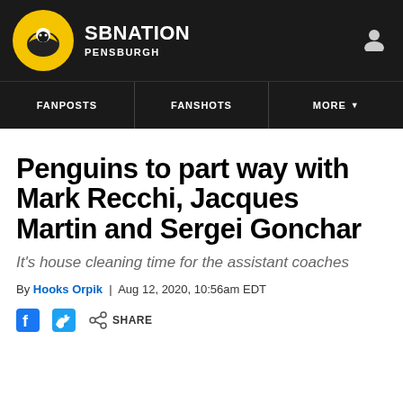SB NATION PENSBURGH
FANPOSTS | FANSHOTS | MORE
Penguins to part way with Mark Recchi, Jacques Martin and Sergei Gonchar
It's house cleaning time for the assistant coaches
By Hooks Orpik | Aug 12, 2020, 10:56am EDT